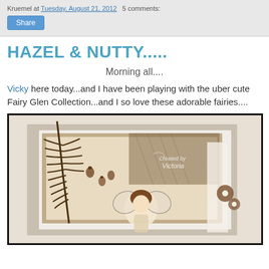Kruemel at Tuesday, August 21, 2012   5 comments:
Share
HAZEL & NUTTY.....
Morning all....
Vicky here today...and I have been playing with the uber cute Fairy Glen Collection...and I so love these adorable fairies....
[Figure (photo): Handmade craft card featuring a fairy figure with brown/earthy tones, decorative ferns, acorns, flowers with pearl centers, patterned paper layers, and lace ribbon. Watermark reads 'Created by Victoria'.]